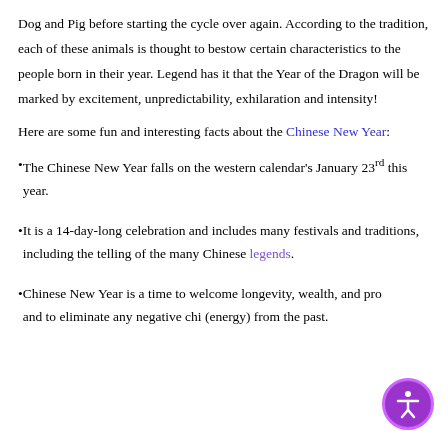Dog and Pig before starting the cycle over again. According to the tradition, each of these animals is thought to bestow certain characteristics to the people born in their year. Legend has it that the Year of the Dragon will be marked by excitement, unpredictability, exhilaration and intensity!
Here are some fun and interesting facts about the Chinese New Year:
The Chinese New Year falls on the western calendar's January 23rd this year.
It is a 14-day-long celebration and includes many festivals and traditions, including the telling of the many Chinese legends.
Chinese New Year is a time to welcome longevity, wealth, and prosperity and to eliminate any negative chi (energy) from the past.